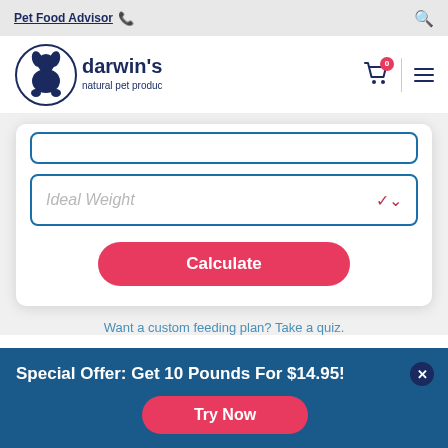Pet Food Advisor
[Figure (logo): darwin's natural pet products logo with dog illustration]
Ideal Weight
Calculate
Want a custom feeding plan? Take a quiz.
Special Offer: Get 10 Pounds For $14.95!
Try Now